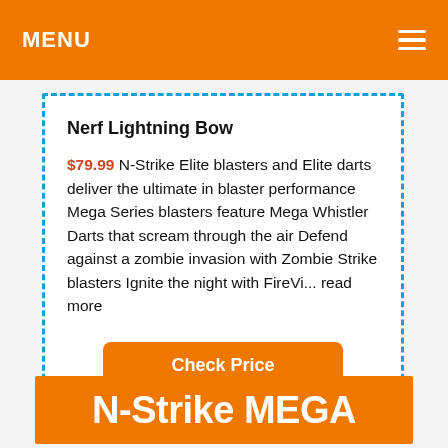MENU
Nerf Lightning Bow
$79.99  N-Strike Elite blasters and Elite darts deliver the ultimate in blaster performance Mega Series blasters feature Mega Whistler Darts that scream through the air Defend against a zombie invasion with Zombie Strike blasters Ignite the night with FireVi... read more
Check Price
N-Strike MEGA